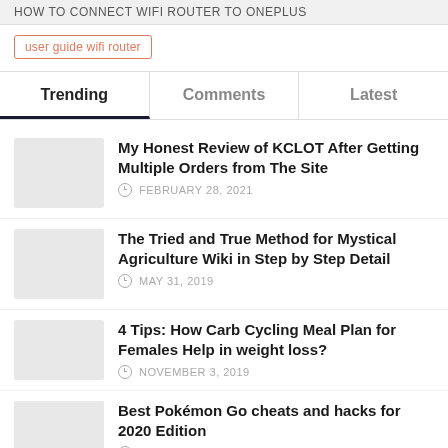HOW TO CONNECT WIFI ROUTER TO ONEPLUS
user guide wifi router
Trending | Comments | Latest
My Honest Review of KCLOT After Getting Multiple Orders from The Site — FEBRUARY 28, 2021
The Tried and True Method for Mystical Agriculture Wiki in Step by Step Detail — MAY 31, 2019
4 Tips: How Carb Cycling Meal Plan for Females Help in weight loss? — NOVEMBER 3, 2019
Best Pokémon Go cheats and hacks for 2020 Edition — OCTOBER 29, 2019